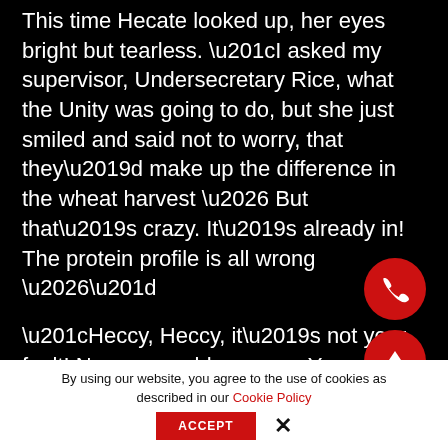This time Hecate looked up, her eyes bright but tearless. “I asked my supervisor, Undersecretary Rice, what the Unity was going to do, but she just smiled and said not to worry, that they’d make up the difference in the wheat harvest … But that’s crazy. It’s already in! The protein profile is all wrong …”
“Heccy, Heccy, it’s not your fault! No one can blame you. You are just doing your job. Someone will fix it once they know about it. Besides, I added two whales to the larder, now didn’t I?” Malila laughed.
Malila sensed Hecate stiffen in her embrace and step away.
[Figure (other): Red circular FAB button with phone icon (call button)]
[Figure (other): Red circular FAB button with upward arrow icon (scroll to top)]
By using our website, you agree to the use of cookies as described in our Cookie Policy